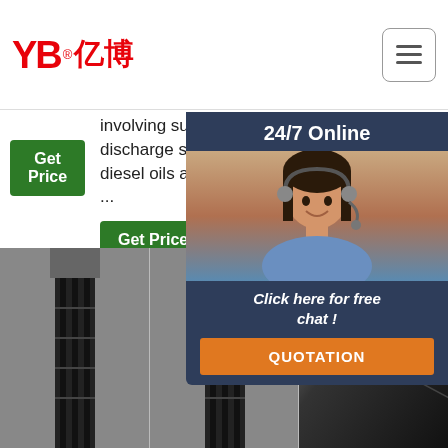[Figure (logo): YB亿博 company logo in red]
[Figure (screenshot): Navigation hamburger menu button top right]
involving suction and discharge service for diesel oils and other …
Get Price
Alibaba.com brings you 300psi black braid outsourcing that cho vas feat can
24/7 Online
[Figure (photo): Customer service representative with headset smiling]
Click here for free chat !
QUOTATION
Get Price
[Figure (photo): Black hydraulic hose close-up product image 1]
[Figure (photo): Black hydraulic hose close-up product image 2]
[Figure (photo): Black braided hose with TOP badge orange]